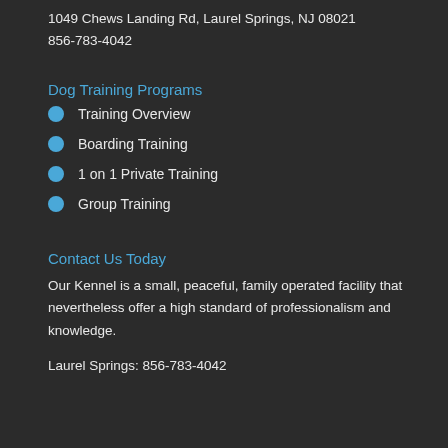1049 Chews Landing Rd, Laurel Springs, NJ 08021
856-783-4042
Dog Training Programs
Training Overview
Boarding Training
1 on 1 Private Training
Group Training
Contact Us Today
Our Kennel is a small, peaceful, family operated facility that nevertheless offer a high standard of professionalism and knowledge.
Laurel Springs: 856-783-4042